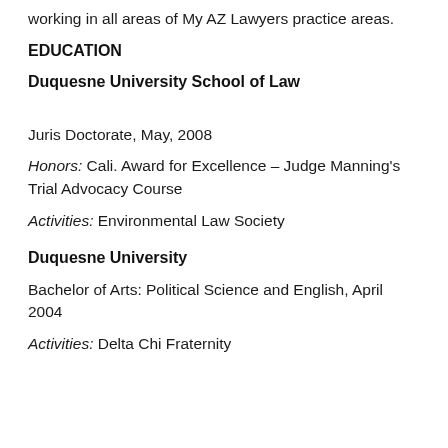working in all areas of My AZ Lawyers practice areas.
EDUCATION
Duquesne University School of Law
Juris Doctorate, May, 2008
Honors:  Cali. Award for Excellence – Judge Manning's Trial Advocacy Course
Activities:  Environmental Law Society
Duquesne University
Bachelor of Arts: Political Science and English, April 2004
Activities:  Delta Chi Fraternity